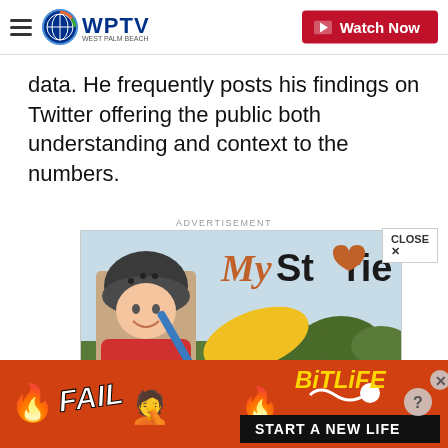WPTV West Palm Beach — Watch Now
data. He frequently posts his findings on Twitter offering the public both understanding and context to the numbers.
ADVERTISEMENT
[Figure (photo): My Storie advertisement: child wearing a helmet holding a kayak paddle, with 'My Storie' logo text]
[Figure (photo): BitLife mobile game banner ad: 'FAIL' text with emoji, 'BitLife' logo, 'START A NEW LIFE' on dark background, orange/red background with fire and emoji]
CLOSE